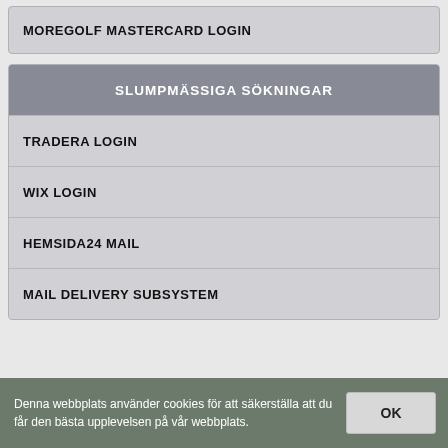MOREGOLF MASTERCARD LOGIN
SLUMPMÄSSIGA SÖKNINGAR
TRADERA LOGIN
WIX LOGIN
HEMSIDA24 MAIL
MAIL DELIVERY SUBSYSTEM
Denna webbplats använder cookies för att säkerställa att du får den bästa upplevelsen på vår webbplats.